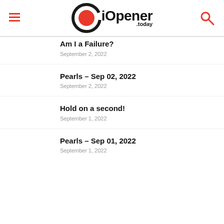iOpener.today
Am I a Failure?
September 2, 2022
Pearls – Sep 02, 2022
September 2, 2022
Hold on a second!
September 1, 2022
Pearls – Sep 01, 2022
September 1, 2022